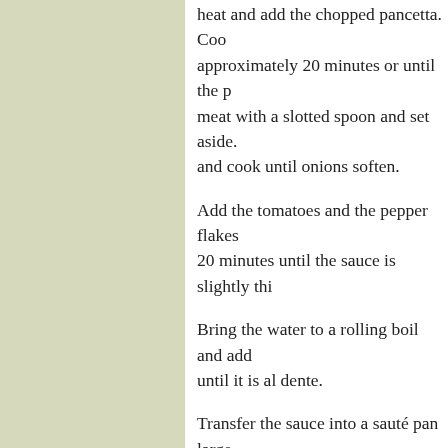heat and add the chopped pancetta. Cook approximately 20 minutes or until the meat with a slotted spoon and set aside. and cook until onions soften.
Add the tomatoes and the pepper flakes 20 minutes until the sauce is slightly thi
Bring the water to a rolling boil and add until it is al dente.
Transfer the sauce into a sauté pan large sauce over medium heat. Add the pance place it into the sauce, mixing thorough Remove the pan from the heat and mix freshly ground black pepper. Serve imm
This makes satisfying and authentic Ro fresh salad and crusty bread to complete certainly be poured in Rome.
*The sauce can be made ahead until this